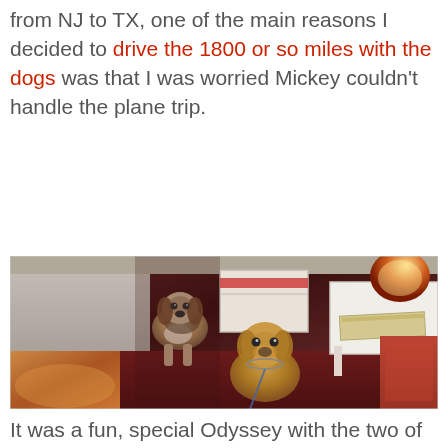from NJ to TX, one of the main reasons I decided to drive the 1800 or so miles with the dogs was that I was worried Mickey couldn't handle the plane trip.
[Figure (photo): Two dogs in a hotel room. A beagle-type dog stands in the background near a white cooler and luggage. A brown mixed-breed dog sits in the foreground on dark red carpet. A white side table with a book and lamp is visible on the right.]
It was a fun, special Odyssey with the two of